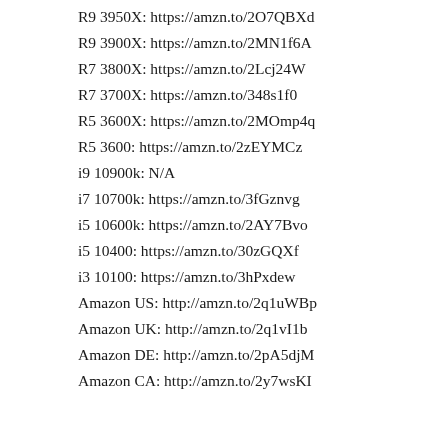R9 3950X: https://amzn.to/2O7QBXd
R9 3900X: https://amzn.to/2MN1f6A
R7 3800X: https://amzn.to/2Lcj24W
R7 3700X: https://amzn.to/348s1f0
R5 3600X: https://amzn.to/2MOmp4q
R5 3600: https://amzn.to/2zEYMCz
i9 10900k: N/A
i7 10700k: https://amzn.to/3fGznvg
i5 10600k: https://amzn.to/2AY7Bvo
i5 10400: https://amzn.to/30zGQXf
i3 10100: https://amzn.to/3hPxdew
Amazon US: http://amzn.to/2q1uWBp
Amazon UK: http://amzn.to/2q1vI1b
Amazon DE: http://amzn.to/2pA5djM
Amazon CA: http://amzn.to/2y7wsKI